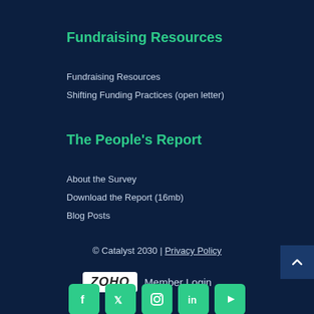Fundraising Resources
Fundraising Resources
Shifting Funding Practices (open letter)
The People's Report
About the Survey
Download the Report (16mb)
Blog Posts
© Catalyst 2030 | Privacy Policy
[Figure (logo): ZOHO logo with Member Login text]
[Figure (infographic): Social media icons: Facebook, Twitter, Instagram, LinkedIn, YouTube — green rounded square buttons]